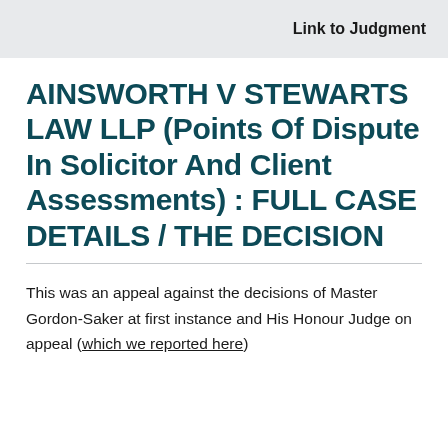Link to Judgment
AINSWORTH V STEWARTS LAW LLP (Points Of Dispute In Solicitor And Client Assessments) : FULL CASE DETAILS / THE DECISION
This was an appeal against the decisions of Master Gordon-Saker at first instance and His Honour Judge on appeal (which we reported here)